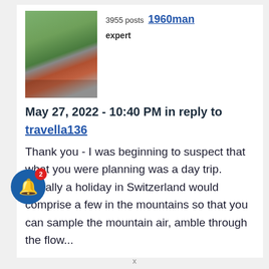[Figure (photo): User avatar showing a train on tracks with green fields in the background]
3955 posts  1960man
expert
May 27, 2022 - 10:40 PM in reply to
travella136
Thank you - I was beginning to suspect that what you were planning was a day trip. Usually a holiday in Switzerland would comprise a few in the mountains so that you can sample the mountain air, amble through the flow...